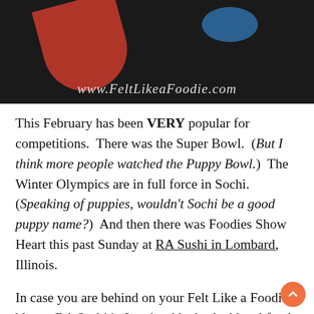[Figure (photo): Dark food photo showing a red utensil or roll and a blue bowl, with watermark text 'www.FeltLikeaFoodie.com' overlaid at the bottom of the image.]
This February has been VERY popular for competitions.  There was the Super Bowl.  (But I think more people watched the Puppy Bowl.)  The Winter Olympics are in full force in Sochi.  (Speaking of puppies, wouldn't Sochi be a good puppy name?)  And then there was Foodies Show Heart this past Sunday at RA Sushi in Lombard, Illinois.
In case you are behind on your Felt Like a Foodie blogs,  RA Sushi in Lombard had asked local food writers/bloggers (I was one of them) to each create a one-of-a-kind sushi roll as